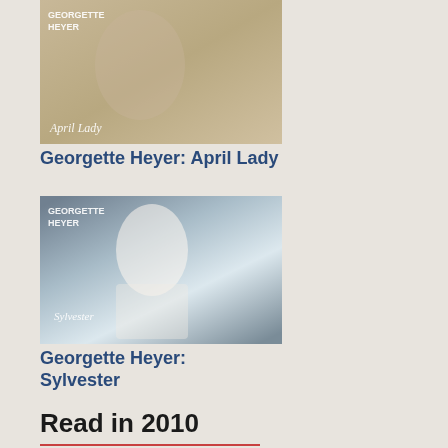[Figure (photo): Book cover for Georgette Heyer: April Lady]
Georgette Heyer: April Lady
[Figure (photo): Book cover for Georgette Heyer: Sylvester]
Georgette Heyer: Sylvester
Read in 2010
[Figure (photo): Book cover for Margaret James: The ...]
Margaret James: The ...
I have been in touch with the British Library who as you know have this wonderful Classics in Crime series and I was told